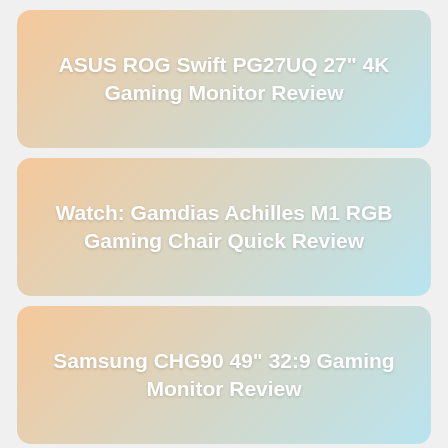ASUS ROG Swift PG27UQ 27" 4K Gaming Monitor Review
Watch: Gamdias Achilles M1 RGB Gaming Chair Quick Review
Samsung CHG90 49" 32:9 Gaming Monitor Review